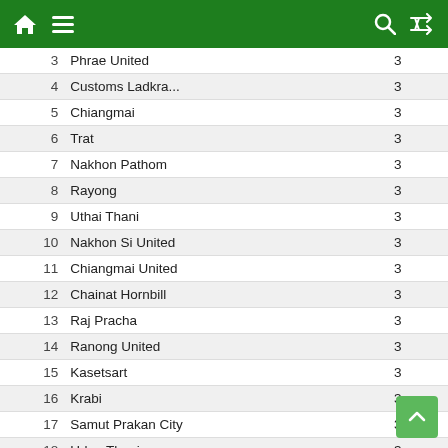Navigation header with home, menu, search, and shuffle icons
| # | Team | P | W | D | L | GF | GA | GD | Pts |
| --- | --- | --- | --- | --- | --- | --- | --- | --- | --- |
| 3 | Phrae United | 3 | 2 | 1 | 0 | 6 | 4 | +2 | 7 |
| 4 | Customs Ladkra... | 3 | 2 | 0 | 1 | 6 | 5 | +1 | 6 |
| 5 | Chiangmai | 3 | 1 | 2 | 0 | 4 | 2 | +2 | 5 |
| 6 | Trat | 3 | 1 | 2 | 0 | 4 | 3 | +1 | 5 |
| 7 | Nakhon Pathom | 3 | 1 | 2 | 0 | 2 | 1 | +1 | 5 |
| 8 | Rayong | 3 | 1 | 2 | 0 | 2 | 1 | +1 | 5 |
| 9 | Uthai Thani | 3 | 1 | 1 | 1 | 6 | 6 | +0 | 4 |
| 10 | Nakhon Si United | 3 | 1 | 1 | 1 | 3 | 3 | +0 | 4 |
| 11 | Chiangmai United | 3 | 1 | 1 | 1 | 4 | 6 | -2 | 4 |
| 12 | Chainat Hornbill | 3 | 1 | 0 | 2 | 4 | 5 | -1 | 3 |
| 13 | Raj Pracha | 3 | 0 | 2 | 1 | 2 | 3 | -1 | 2 |
| 14 | Ranong United | 3 | 0 | 2 | 1 | 2 | 4 | -2 | 2 |
| 15 | Kasetsart | 3 | 0 | 2 | 1 | 0 | 2 | -2 | 2 |
| 16 | Krabi | 3 | 0 | 1 | 2 | 3 | 5 | -2 | 1 |
| 17 | Samut Prakan City | 3 | 0 | 1 | 2 | 1 | 4 | -3 | 1 |
| 18 | Udon Thani | 3 | 0 | 0 | 3 | 3 | 7 | -4 | 0 |